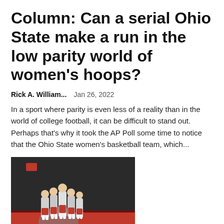Column: Can a serial Ohio State make a run in the low parity world of women's hoops?
Rick A. William...    Jan 26, 2022
In a sport where parity is even less of a reality than in the world of college football, it can be difficult to stand out. Perhaps that's why it took the AP Poll some time to notice that the Ohio State women's basketball team, which...
[Figure (photo): Ohio State men's tennis team players huddle together on an indoor red court, wearing gray and orange uniforms.]
No. 6 Ohio State kicks off 2022...